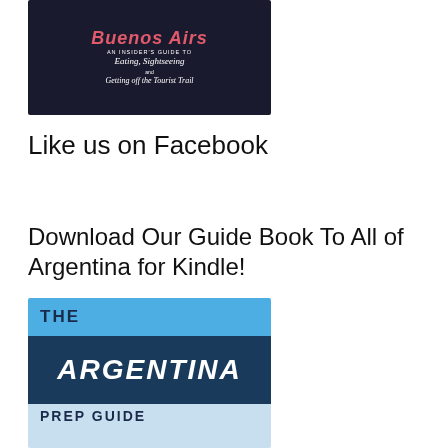[Figure (illustration): Book cover for a Buenos Aires insider guide featuring eating, sightseeing and getting off the tourist trail, dark background with illustrated icons]
Like us on Facebook
Download Our Guide Book To All of Argentina for Kindle!
[Figure (illustration): Book cover for The Argentina Prep Guide with blue color scheme showing THE at top, ARGENTINA in large italic letters on dark blue band, and PREP GUIDE at bottom on light blue]